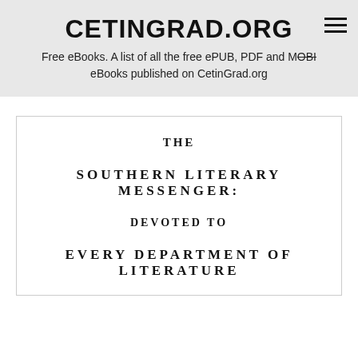CETINGRAD.ORG
Free eBooks. A list of all the free ePUB, PDF and MOBI eBooks published on CetinGrad.org
THE
SOUTHERN LITERARY MESSENGER:
DEVOTED TO
EVERY DEPARTMENT OF LITERATURE